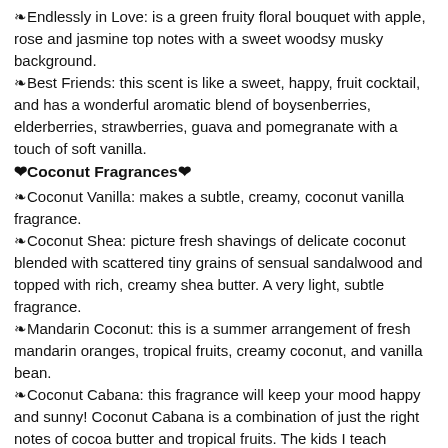❧Endlessly in Love: is a green fruity floral bouquet with apple, rose and jasmine top notes with a sweet woodsy musky background.
❧Best Friends: this scent is like a sweet, happy, fruit cocktail, and has a wonderful aromatic blend of boysenberries, elderberries, strawberries, guava and pomegranate with a touch of soft vanilla.
❤Coconut Fragrances❤
❧Coconut Vanilla: makes a subtle, creamy, coconut vanilla fragrance.
❧Coconut Shea: picture fresh shavings of delicate coconut blended with scattered tiny grains of sensual sandalwood and topped with rich, creamy shea butter. A very light, subtle fragrance.
❧Mandarin Coconut: this is a summer arrangement of fresh mandarin oranges, tropical fruits, creamy coconut, and vanilla bean.
❧Coconut Cabana: this fragrance will keep your mood happy and sunny! Coconut Cabana is a combination of just the right notes of cocoa butter and tropical fruits. The kids I teach absolutely love this fragrance, when I spray it in the classroom in my 4 oz spray bottle
❧Tropical Blast: this is a combination of just the right notes of cocoa